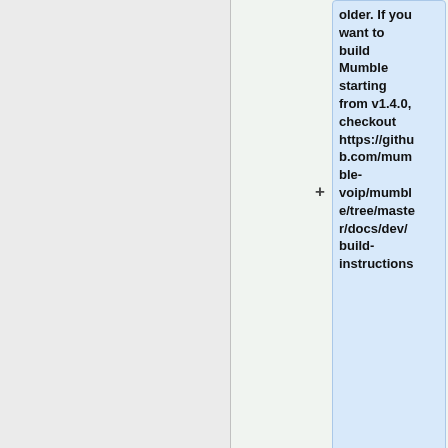[Figure (screenshot): Diff view screenshot showing added lines in a code/wiki document. Right column contains a light-blue highlighted text block with a '+' marker showing added content about building Mumble from v1.4.0, including a GitHub URL. Below that is another added line '}}'. At the bottom are four cards: two plain gray cards, one yellow card saying 'Mumble has quite a few dependenci...' and one blue card saying '{{Building}}'.]